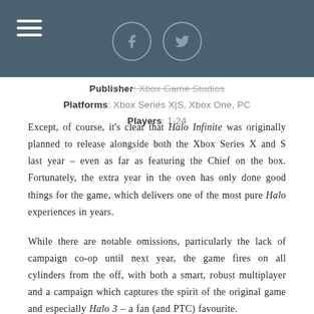Publisher: Xbox Game Studios
Platforms: Xbox Series X|S, Xbox One, PC
Players: 1-24
Except, of course, it's clear that Halo Infinite was originally planned to release alongside both the Xbox Series X and S last year – even as far as featuring the Chief on the box. Fortunately, the extra year in the oven has only done good things for the game, which delivers one of the most pure Halo experiences in years.
While there are notable omissions, particularly the lack of campaign co-op until next year, the game fires on all cylinders from the off, with both a smart, robust multiplayer and a campaign which captures the spirit of the original game and especially Halo 3 – a fan (and PTC) favourite.
Playing Infinite, you'll see traces of ideas from original developers Bungie refined and fully realised by current